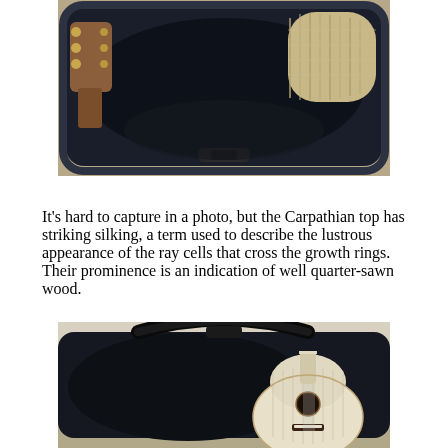[Figure (photo): A ukulele or small guitar in an open black soft case, photographed outdoors. The headstock and tuning pegs are visible on the left, and the figured wood top of the instrument is visible on the right side of the case.]
It's hard to capture in a photo, but the Carpathian top has striking silking, a term used to describe the lustrous appearance of the ray cells that cross the growth rings. Their prominence is an indication of well quarter-sawn wood.
[Figure (photo): A small acoustic guitar (ukulele or travel guitar) with a light-colored spruce or Carpathian top resting in an open black soft guitar case, photographed outdoors.]